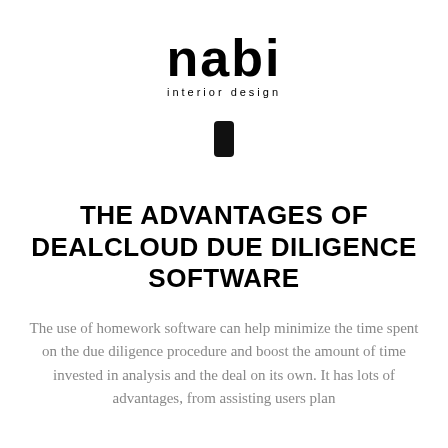[Figure (logo): nabi interior design logo with large bold 'nabi' text and smaller 'interior design' subtitle below]
[Figure (other): Small black rounded rectangle phone/mobile icon]
THE ADVANTAGES OF DEALCLOUD DUE DILIGENCE SOFTWARE
The use of homework software can help minimize the time spent on the due diligence procedure and boost the amount of time invested in analysis and the deal on its own. It has lots of advantages, from assisting users plan